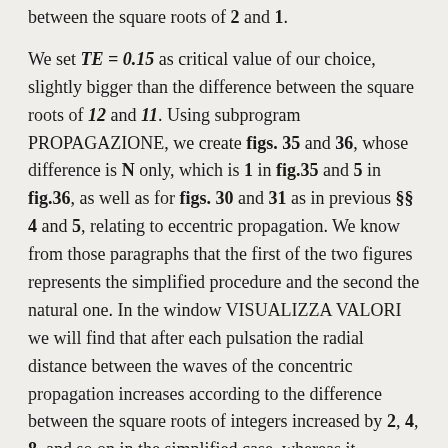between the square roots of 2 and 1.
We set TE = 0.15 as critical value of our choice, slightly bigger than the difference between the square roots of 12 and 11. Using subprogram PROPAGAZIONE, we create figs. 35 and 36, whose difference is N only, which is 1 in fig.35 and 5 in fig.36, as well as for figs. 30 and 31 as in previous §§ 4 and 5, relating to eccentric propagation. We know from those paragraphs that the first of the two figures represents the simplified procedure and the second the natural one. In the window VISUALIZZA VALORI we will find that after each pulsation the radial distance between the waves of the concentric propagation increases according to the difference between the square roots of integers increased by 2, 4, 8, and so on in the simplified case, whereas it increases more gradually in the other case, in which, however, the